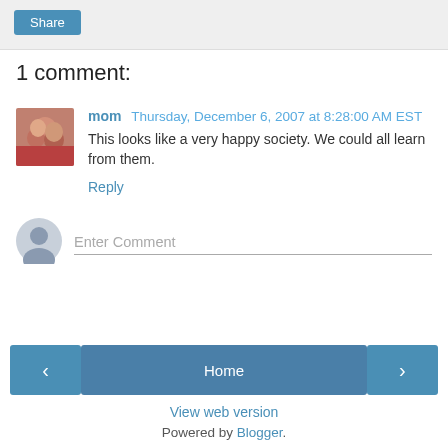[Figure (other): Share button in a light gray bar at the top of the page]
1 comment:
[Figure (photo): Avatar photo of commenter 'mom' — a couple photo]
mom  Thursday, December 6, 2007 at 8:28:00 AM EST
This looks like a very happy society. We could all learn from them.
Reply
[Figure (other): Generic user silhouette icon for comment input area]
Enter Comment
< Home > View web version Powered by Blogger.